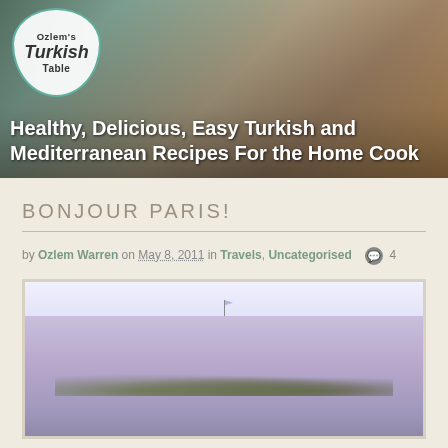[Figure (photo): Website header banner for Ozlem's Turkish Table blog, showing a chef in white holding dried herbs/figs, with a decorative logo badge and colorful market background]
Healthy, Delicious, Easy Turkish and Mediterranean Recipes For the Home Cook
BONJOUR PARIS!
by Ozlem Warren on May 8, 2011 in Travels, Uncategorised  4
[Figure (photo): Photograph of a classical Parisian building with ornate architecture, dome, and green trees in the foreground under a pale sky]